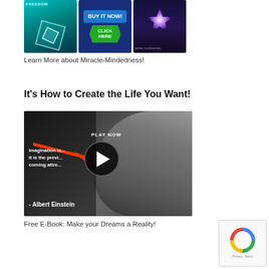[Figure (illustration): Three book/product images: left - teal colored book with text FREEDOM and geometric cube design; middle - blue Buy It Now button with green Click Here arrow; right - dark purple book with glowing star]
Learn More about Miracle-Mindedness!
It's How to Create the Life You Want!
[Figure (screenshot): Video thumbnail showing black and white photo of Albert Einstein with text: Imagination is... It is the previ... coming attre... - Albert Einstein, with a red arrow pointing to a PLAY NOW button]
Free E-Book: Make your Dreams a Reality!